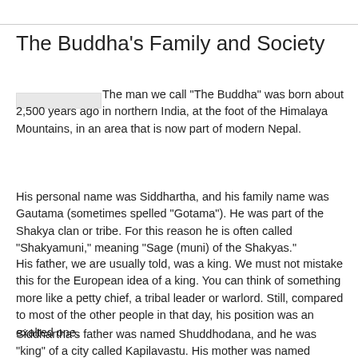The Buddha's Family and Society
The man we call "The Buddha" was born about 2,500 years ago in northern India, at the foot of the Himalaya Mountains, in an area that is now part of modern Nepal.
His personal name was Siddhartha, and his family name was Gautama (sometimes spelled "Gotama"). He was part of the Shakya clan or tribe. For this reason he is often called "Shakyamuni," meaning "Sage (muni) of the Shakyas."
His father, we are usually told, was a king. We must not mistake this for the European idea of a king. You can think of something more like a petty chief, a tribal leader or warlord. Still, compared to most of the other people in that day, his position was an exalted one.
Siddhartha's father was named Shuddhodana, and he was "king" of a city called Kapilavastu. His mother was named